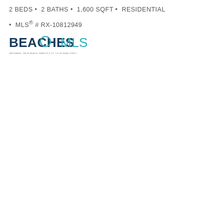2 BEDS • 2 BATHS • 1,600 SQFT • RESIDENTIAL
• MLS® # RX-10812949
[Figure (logo): BeachesMLS logo with tagline 'BROWARD, PALM BEACH, MARTIN & ST. LUCIE REALTORS®']